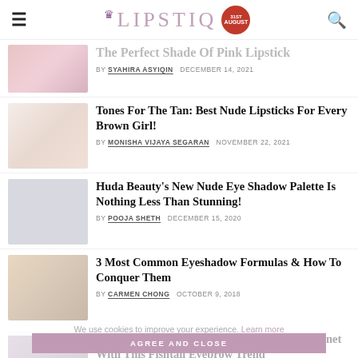LIPSTIQ
The Perfect Shade Of Pink Lipstick — BY SYAHIRA ASYIQIN  DECEMBER 14, 2021
Tones For The Tan: Best Nude Lipsticks For Every Brown Girl! — BY MONISHA VIJAYA SEGARAN  NOVEMBER 22, 2021
Huda Beauty's New Nude Eye Shadow Palette Is Nothing Less Than Stunning! — BY POOJA SHETH  DECEMBER 15, 2020
3 Most Common Eyeshadow Formulas & How To Conquer Them — BY CARMEN CHONG  OCTOBER 9, 2018
Huda Beauty's Founder Has Shaken The Internet With This Fishtail Eyebrow Trend